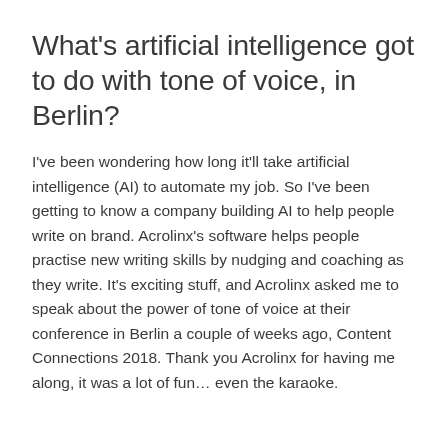What's artificial intelligence got to do with tone of voice, in Berlin?
I've been wondering how long it'll take artificial intelligence (AI) to automate my job. So I've been getting to know a company building AI to help people write on brand. Acrolinx's software helps people practise new writing skills by nudging and coaching as they write. It's exciting stuff, and Acrolinx asked me to speak about the power of tone of voice at their conference in Berlin a couple of weeks ago, Content Connections 2018. Thank you Acrolinx for having me along, it was a lot of fun… even the karaoke.